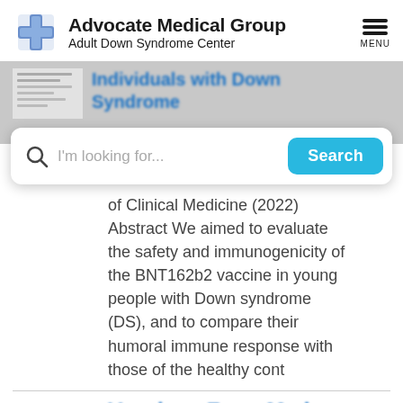[Figure (logo): Advocate Medical Group Adult Down Syndrome Center logo with blue cross icon]
Individuals with Down Syndrome
I'm looking for...
of Clinical Medicine (2022) Abstract We aimed to evaluate the safety and immunogenicity of the BNT162b2 vaccine in young people with Down syndrome (DS), and to compare their humoral immune response with those of the healthy cont
Vaccines From Med...